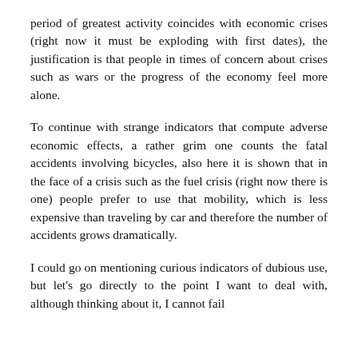period of greatest activity coincides with economic crises (right now it must be exploding with first dates), the justification is that people in times of concern about crises such as wars or the progress of the economy feel more alone.
To continue with strange indicators that compute adverse economic effects, a rather grim one counts the fatal accidents involving bicycles, also here it is shown that in the face of a crisis such as the fuel crisis (right now there is one) people prefer to use that mobility, which is less expensive than traveling by car and therefore the number of accidents grows dramatically.
I could go on mentioning curious indicators of dubious use, but let's go directly to the point I want to deal with, although thinking about it, I cannot fail